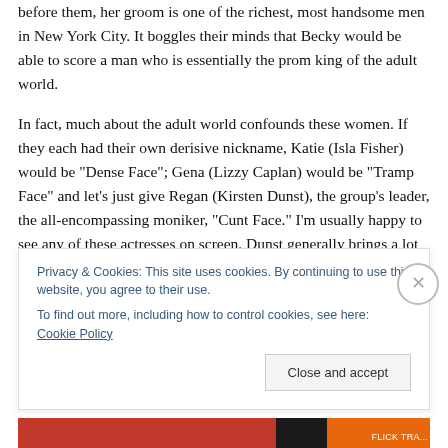before them, her groom is one of the richest, most handsome men in New York City. It boggles their minds that Becky would be able to score a man who is essentially the prom king of the adult world.
In fact, much about the adult world confounds these women. If they each had their own derisive nickname, Katie (Isla Fisher) would be "Dense Face"; Gena (Lizzy Caplan) would be "Tramp Face" and let's just give Regan (Kirsten Dunst), the group's leader, the all-encompassing moniker, "Cunt Face." I'm usually happy to see any of these actresses on screen. Dunst generally brings a lot of
Privacy & Cookies: This site uses cookies. By continuing to use this website, you agree to their use.
To find out more, including how to control cookies, see here: Cookie Policy